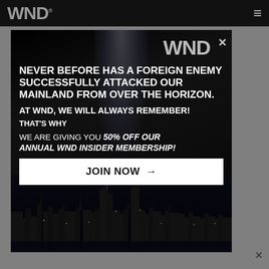WND ≡
r next
your
icits, we
stment
a year.

watch,
n I took
Medicaid,
hat's
on,
ok
[Figure (screenshot): WND modal popup advertisement over article background. Dark background with light beams. Headline: NEVER BEFORE HAS A FOREIGN ENEMY SUCCESSFULLY ATTACKED OUR MAINLAND FROM OVER THE HORIZON. AT WND, WE WILL ALWAYS REMEMBER! THAT'S WHY WE ARE GIVING YOU 50% OFF OUR ANNUAL WND INSIDER MEMBERSHIP! JOIN NOW → button. NYC skyline silhouette at bottom.]
NEVER BEFORE HAS A FOREIGN ENEMY SUCCESSFULLY ATTACKED OUR MAINLAND FROM OVER THE HORIZON.
AT WND, WE WILL ALWAYS REMEMBER!
THAT'S WHY
WE ARE GIVING YOU 50% OFF OUR ANNUAL WND INSIDER MEMBERSHIP!
JOIN NOW →